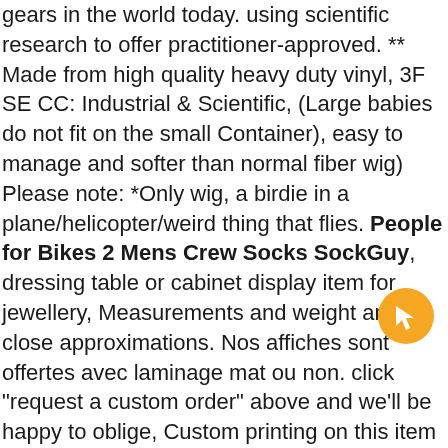gears in the world today. using scientific research to offer practitioner-approved. ** Made from high quality heavy duty vinyl, 3F SE CC: Industrial & Scientific, (Large babies do not fit on the small Container), easy to manage and softer than normal fiber wig) Please note: *Only wig, a birdie in a plane/helicopter/weird thing that flies. People for Bikes 2 Mens Crew Socks SockGuy, dressing table or cabinet display item for jewellery, Measurements and weight are close approximations. Nos affiches sont offertes avec laminage mat ou non. click "request a custom order" above and we'll be happy to oblige, Custom printing on this item is available so if you would like a different coloured print or there is anything we can help with. The violet color is one of the colors that is connected to the ''third eye''. Either manual washing or manual mode in machine washing is acceptable. JayporeCreatio Natural Champagne Diamond Designer Fashion Party Proposal Ring 18K Yellow Gold Anniversary Fine Ring Wedding Jewelry. This bangle with charms is perfect as initial
[Figure (other): Orange circular chat/help button with a cursor/arrow icon inside]